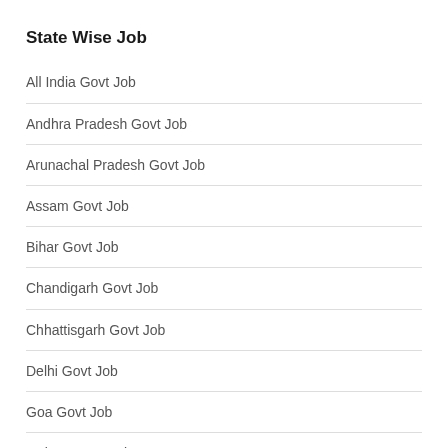State Wise Job
All India Govt Job
Andhra Pradesh Govt Job
Arunachal Pradesh Govt Job
Assam Govt Job
Bihar Govt Job
Chandigarh Govt Job
Chhattisgarh Govt Job
Delhi Govt Job
Goa Govt Job
Gujarat Govt Job
Haryana Govt Job
Himachal Pradesh Govt Job
Jammu and Kashmir Govt Job